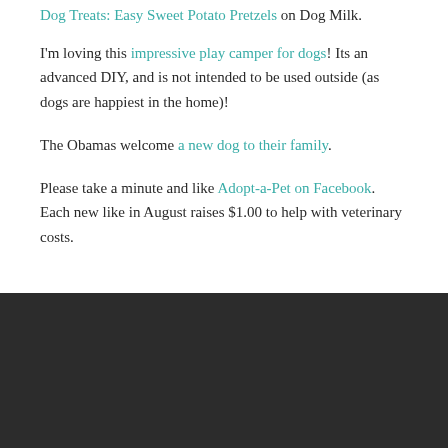Dog Treats: Easy Sweet Potato Pretzels on Dog Milk.
I'm loving this impressive play camper for dogs!  Its an advanced DIY, and is not intended to be used outside (as dogs are happiest in the home)!
The Obamas welcome a new dog to their family.
Please take a minute and like Adopt-a-Pet on Facebook.  Each new like in August raises $1.00 to help with veterinary costs.
[Figure (photo): Dark/black rectangular image area at the bottom of the page]